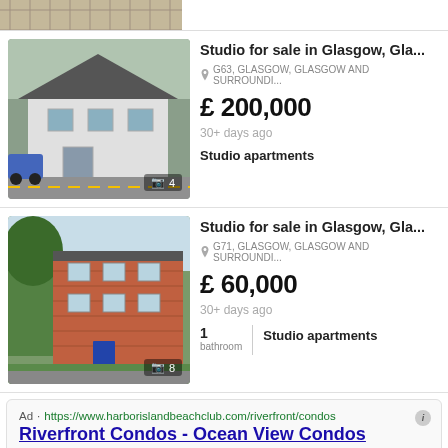[Figure (photo): Partial top strip showing a patterned stone/gravel surface, partially cropped]
[Figure (photo): White-rendered two-storey detached house with grey roof, cars parked outside on a street in Glasgow]
Studio for sale in Glasgow, Gla...
G63, GLASGOW, GLASGOW AND SURROUNDI...
£ 200,000
30+ days ago
Studio apartments
[Figure (photo): Red-brick two-storey tenement building with blue front door and garden, Glasgow]
Studio for sale in Glasgow, Gla...
G71, GLASGOW, GLASGOW AND SURROUNDI...
£ 60,000
30+ days ago
1
bathroom
Studio apartments
Ad · https://www.harborislandbeachclub.com/riverfront/condos
Riverfront Condos - Ocean View Condos
Select Your New Home At Harbor Island